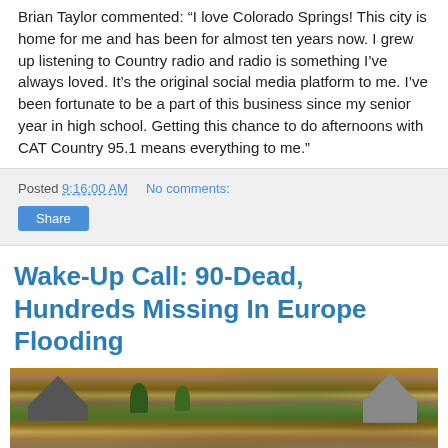Brian Taylor commented: “I love Colorado Springs! This city is home for me and has been for almost ten years now. I grew up listening to Country radio and radio is something I’ve always loved. It’s the original social media platform to me. I’ve been fortunate to be a part of this business since my senior year in high school. Getting this chance to do afternoons with CAT Country 95.1 means everything to me.”
Posted 9:16:00 AM   No comments:
Share
Wake-Up Call: 90-Dead, Hundreds Missing In Europe Flooding
[Figure (photo): Aerial photo of flooded European town showing brown floodwaters submerging streets and buildings with trees visible]